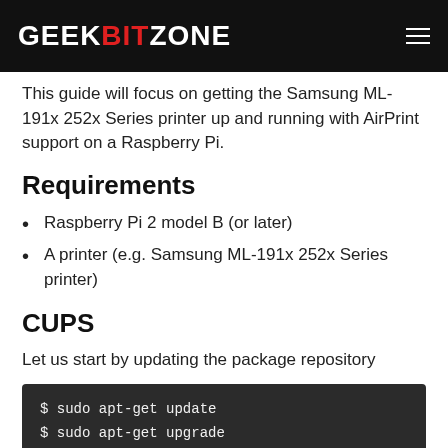GEEKBITZONE
This guide will focus on getting the Samsung ML-191x 252x Series printer up and running with AirPrint support on a Raspberry Pi.
Requirements
Raspberry Pi 2 model B (or later)
A printer (e.g. Samsung ML-191x 252x Series printer)
CUPS
Let us start by updating the package repository
$ sudo apt-get update
$ sudo apt-get upgrade